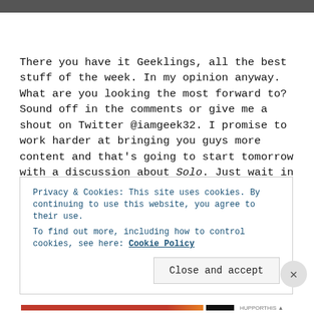[Figure (photo): Partial top edge of a dark image, cropped at the top of the page]
There you have it Geeklings, all the best stuff of the week. In my opinion anyway. What are you looking the most forward to? Sound off in the comments or give me a shout on Twitter @iamgeek32. I promise to work harder at bringing you guys more content and that's going to start tomorrow with a discussion about Solo. Just wait in see! Now go and enjoy the rest of your
Privacy & Cookies: This site uses cookies. By continuing to use this website, you agree to their use.
To find out more, including how to control cookies, see here: Cookie Policy
Close and accept